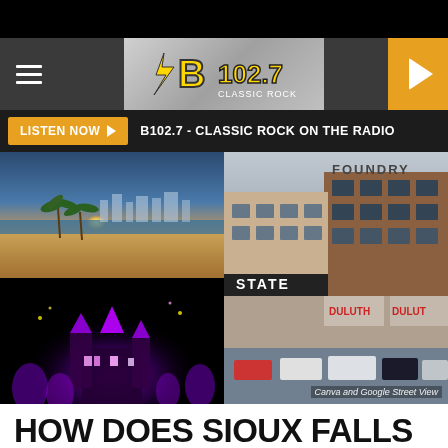[Figure (screenshot): B102.7 Classic Rock radio station website header with hamburger menu, B102.7 logo, and orange play button]
LISTEN NOW ▶  B102.7 - CLASSIC ROCK ON THE RADIO
[Figure (photo): Collage of four photos: top-left beach sunset with palm trees and skyline, top-right and bottom-right Foundry building street view with State theater and Dylan's storefront and parked cars, bottom-left illuminated Disney castle at night with purple lighting. Caption reads: Canva and Google Street View]
Canva and Google Street View
HOW DOES SIOUX FALLS RANK AS